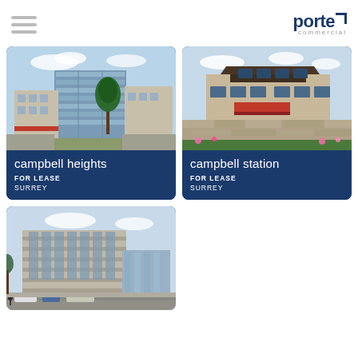porte commercial
[Figure (photo): Commercial building with glass facade - Campbell Heights, Surrey]
campbell heights
FOR LEASE
SURREY
[Figure (photo): Retail/commercial building with stone facade - Campbell Station, Surrey]
campbell station
FOR LEASE
SURREY
[Figure (photo): Large office building - third property listing]